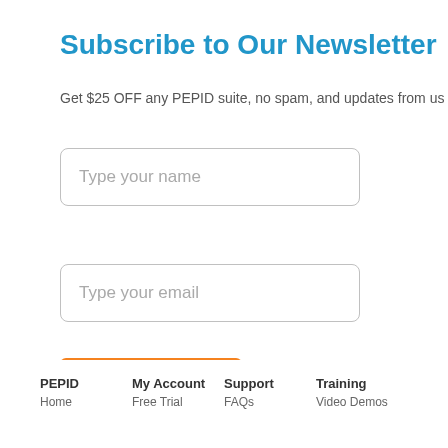Subscribe to Our Newsletter
Get $25 OFF any PEPID suite, no spam, and updates from us
[Figure (other): Text input field with placeholder 'Type your name']
[Figure (other): Text input field with placeholder 'Type your email']
[Figure (other): Orange submit button labeled 'Submit']
PEPID
My Account
Support
Training
Home
Free Trial
FAQs
Video Demos